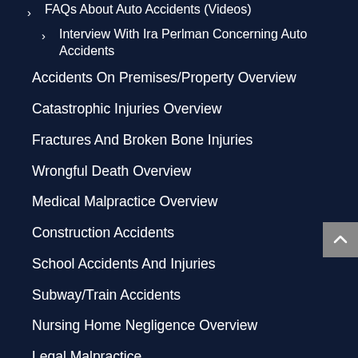FAQs About Auto Accidents (Videos)
Interview With Ira Perlman Concerning Auto Accidents
Accidents On Premises/Property Overview
Catastrophic Injuries Overview
Fractures And Broken Bone Injuries
Wrongful Death Overview
Medical Malpractice Overview
Construction Accidents
School Accidents And Injuries
Subway/Train Accidents
Nursing Home Negligence Overview
Legal Malpractice
Dog Bites And Attacks
Police Brutality/Excessive Force